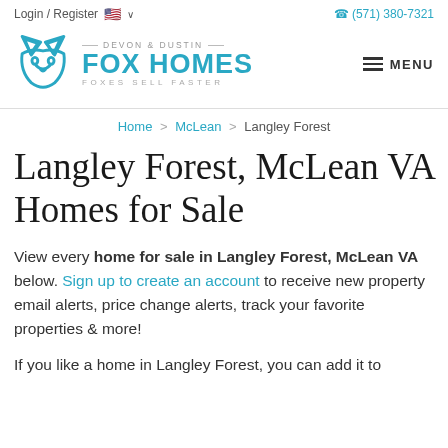Login / Register  🇺🇸 ∨  (571) 380-7321
[Figure (logo): Devon & Dustin Fox Homes logo with teal fox icon and text 'FOX HOMES - FOXES SELL FASTER']
Home > McLean > Langley Forest
Langley Forest, McLean VA Homes for Sale
View every home for sale in Langley Forest, McLean VA below. Sign up to create an account to receive new property email alerts, price change alerts, track your favorite properties & more!
If you like a home in Langley Forest, you can add it to